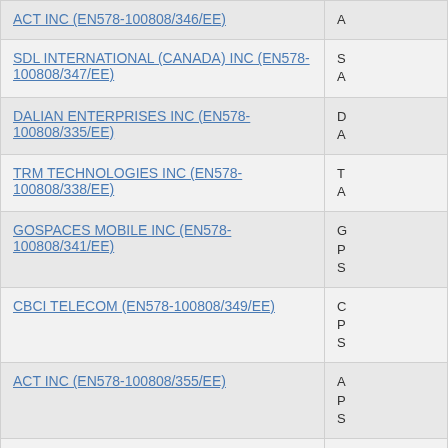| Supplier | Details |
| --- | --- |
| ACT INC (EN578-100808/346/EE) | A |
| SDL INTERNATIONAL (CANADA) INC (EN578-100808/347/EE) | S A |
| DALIAN ENTERPRISES INC (EN578-100808/335/EE) | D A |
| TRM TECHNOLOGIES INC (EN578-100808/338/EE) | T A |
| GOSPACES MOBILE INC (EN578-100808/341/EE) | G P S |
| CBCI TELECOM (EN578-100808/349/EE) | C P S |
| ACT INC (EN578-100808/355/EE) | A P S |
| OPTIV CANADA FEDERAL INC. (EN578-100808/094/EE) | C E E |